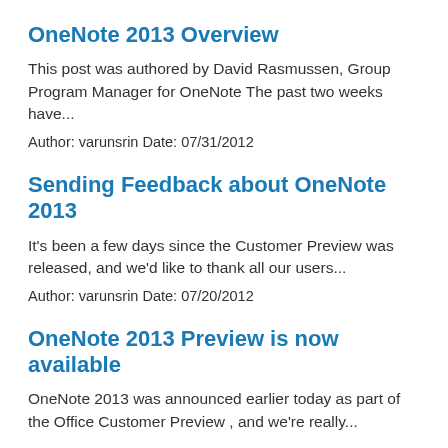OneNote 2013 Overview
This post was authored by David Rasmussen, Group Program Manager for OneNote The past two weeks have...
Author: varunsrin Date: 07/31/2012
Sending Feedback about OneNote 2013
It's been a few days since the Customer Preview was released, and we'd like to thank all our users...
Author: varunsrin Date: 07/20/2012
OneNote 2013 Preview is now available
OneNote 2013 was announced earlier today as part of the Office Customer Preview , and we're really...